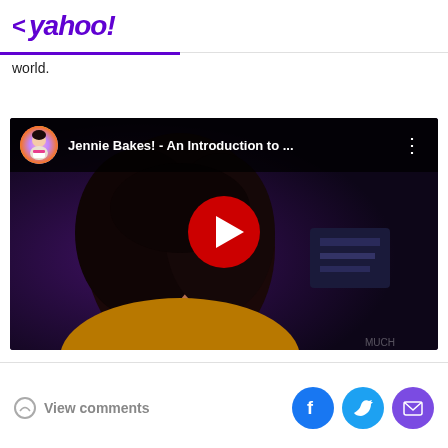< yahoo!
world.
[Figure (screenshot): YouTube video embed showing 'Jennie Bakes! - An Introduction to ...' with a woman with dark hair in the thumbnail, a red play button overlay, and the YouTube-style channel header]
View comments | Facebook share | Twitter share | Email share